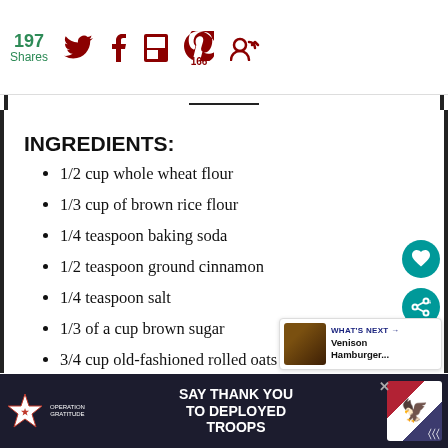197 Shares | Social share bar with Twitter, Facebook, Flipboard, Pinterest (166), and follow icons
INGREDIENTS:
1/2 cup whole wheat flour
1/3 cup of brown rice flour
1/4 teaspoon baking soda
1/2 teaspoon ground cinnamon
1/4 teaspoon salt
1/3 of a cup brown sugar
3/4 cup old-fashioned rolled oats
SAY THANK YOU TO DEPLOYED TROOPS — Operation Gratitude advertisement